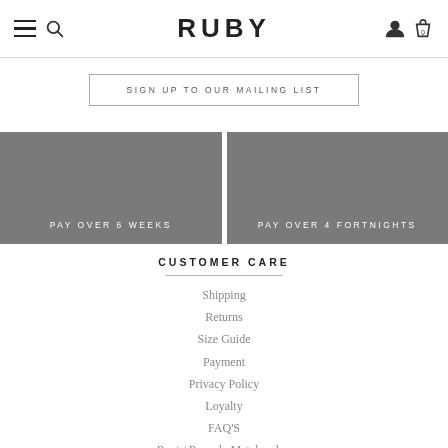RUBY
SIGN UP TO OUR MAILING LIST
PAY OVER 6 WEEKS
PAY OVER 4 FORTNIGHTS
CUSTOMER CARE
Shipping
Returns
Size Guide
Payment
Privacy Policy
Loyalty
FAQ'S
Rent / Recycle Matchmaker